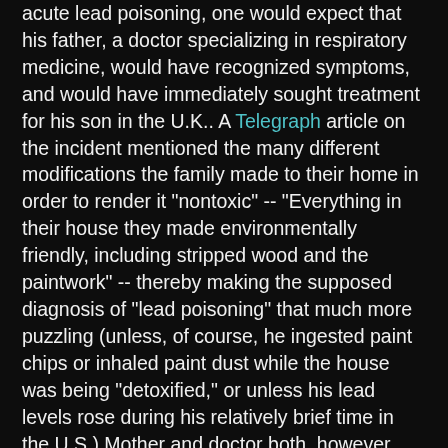acute lead poisoning, one would expect that his father, a doctor specializing in respiratory medicine, would have recognized symptoms, and would have immediately sought treatment for his son in the U.K.. A Telegraph article on the incident mentioned the many different modifications the family made to their home in order to render it "nontoxic" -- "Everything in their house they made environmentally friendly, including stripped wood and the paintwork" -- thereby making the supposed diagnosis of "lead poisoning" that much more puzzling (unless, of course, he ingested paint chips or inhaled paint dust while the house was being "detoxified," or unless his lead levels rose during his relatively brief time in the U.S.) Mother and doctor both, however, have acknowledged that the boy was being chelated in an attempt to cure his autism, and that this is the reason the family (sans father) moved to the United States in the spring of this year.
Another possibility is that the double diagnosis of lead and mercury poisoning might have